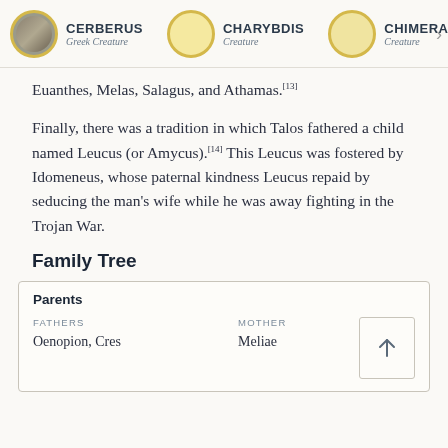CERBERUS Greek Creature | CHARYBDIS Creature | CHIMERA Creature
Euanthes, Melas, Salagus, and Athamas.[13]
Finally, there was a tradition in which Talos fathered a child named Leucus (or Amycus).[14] This Leucus was fostered by Idomeneus, whose paternal kindness Leucus repaid by seducing the man's wife while he was away fighting in the Trojan War.
Family Tree
| FATHERS | MOTHER |
| --- | --- |
| Oenopion, Cres | Meliae |